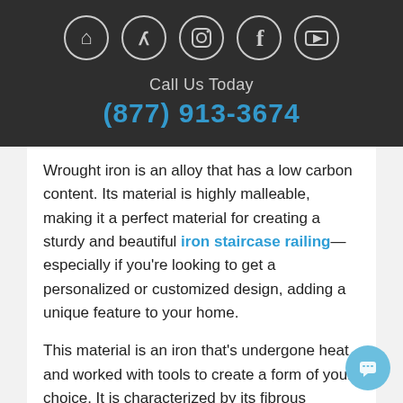[Figure (other): Row of five social media icons (Houzz, Yelp, Instagram, Facebook, YouTube) in white outline circles on dark background]
Call Us Today
(877) 913-3674
Wrought iron is an alloy that has a low carbon content. Its material is highly malleable, making it a perfect material for creating a sturdy and beautiful iron staircase railing—especially if you're looking to get a personalized or customized design, adding a unique feature to your home.
This material is an iron that's undergone heat and worked with tools to create a form of your choice. It is characterized by its fibrous appearance and gets stronger the more it's worked.